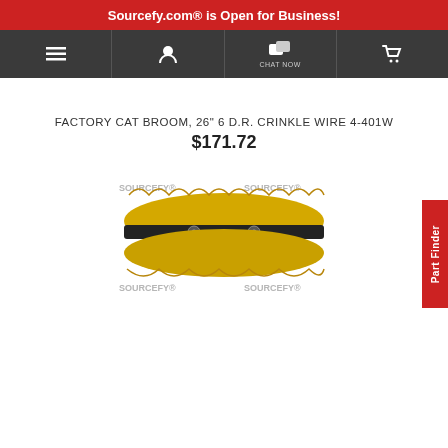Sourcefy.com® is Open for Business!
[Figure (screenshot): Navigation bar with hamburger menu, user icon, chat now button, and cart icon on dark grey background]
FACTORY CAT BROOM, 26" 6 D.R. CRINKLE WIRE 4-401W
$171.72
[Figure (photo): Yellow crinkle wire broom brush product photo with SOURCEFY.COM watermark]
Part Finder